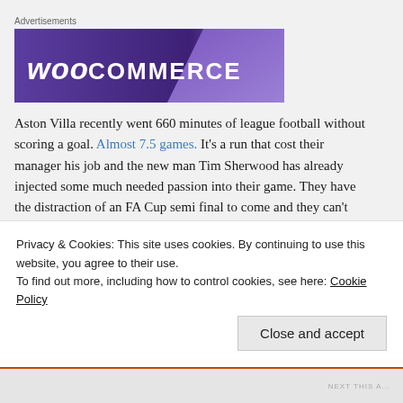Advertisements
[Figure (screenshot): WooCommerce advertisement banner with purple gradient background showing WooCommerce logo text in white]
Aston Villa recently went 660 minutes of league football without scoring a goal. Almost 7.5 games. It's a run that cost their manager his job and the new man Tim Sherwood has already injected some much needed passion into their game. They have the distraction of an FA Cup semi final to come and they can't allow that to distract them from the main objective of staying in the league. They do seem to have renewed energy with the arrival of the new boss and they know will benefit it.
Privacy & Cookies: This site uses cookies. By continuing to use this website, you agree to their use.
To find out more, including how to control cookies, see here: Cookie Policy
Close and accept